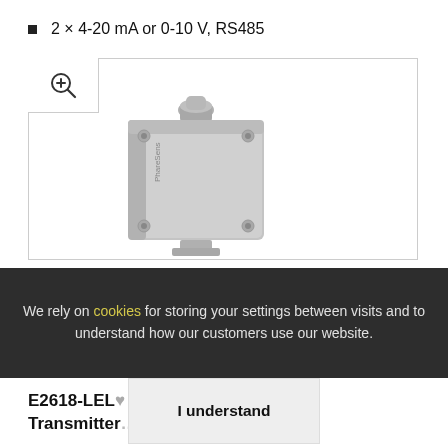2 × 4-20 mA or 0-10 V, RS485
[Figure (photo): Gray metal enclosure device (PhareSens brand) with cable gland on top and four corner screws, mounted on a bracket. Product transmitter unit shown from front angle.]
We rely on cookies for storing your settings between visits and to understand how our customers use our website.
I understand
E2618-LEL-... Gas Transmitter...